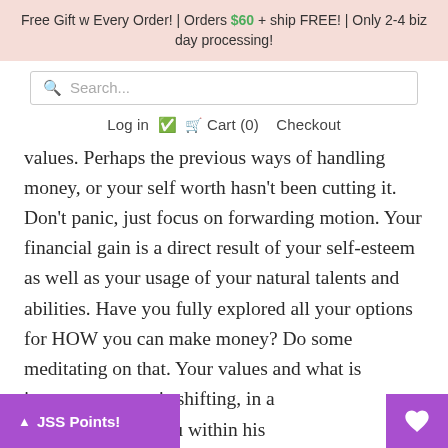Free Gift w Every Order! | Orders $60 + ship FREE! | Only 2-4 biz day processing!
Search...
Log in   Cart (0)   Checkout
values. Perhaps the previous ways of handling money, or your self worth hasn't been cutting it. Don't panic, just focus on forwarding motion. Your financial gain is a direct result of your self-esteem as well as your usage of your natural talents and abilities. Have you fully explored all your options for HOW you can make money? Do some meditating on that. Your values and what is important to you is shifting, in a way. Jupiter has you within his
JSS Points!